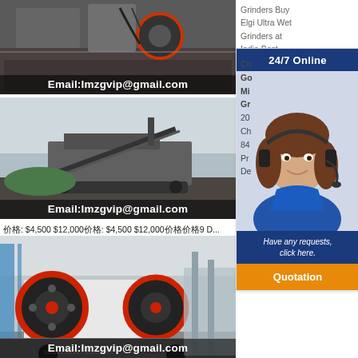[Figure (photo): Industrial machinery/crusher equipment with Email:lmzgvip@gmail.com overlay at top]
[Figure (photo): Mobile crusher/screening plant at industrial site with Email:lmzgvip@gmail.com overlay]
价格: $4,500 $12,000价格: $4,500 $12,000价格价格9 D...
[Figure (photo): Jaw crusher machine on truck with red flywheels and Email:lmzgvip@gmail.com overlay]
Grinders Buy Elgi Ultra Wet Grinders at India Best
[Figure (infographic): 24/7 Online chat widget with woman wearing headset, Have any requests, click here. and Quotation button]